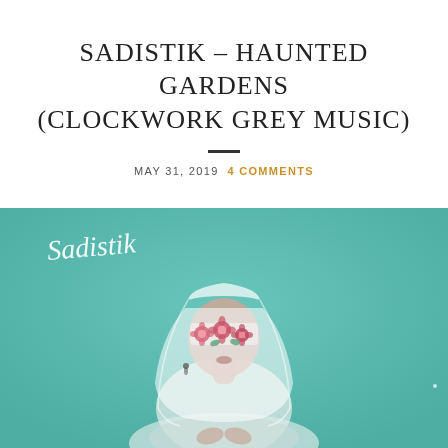SADISTIK – HAUNTED GARDENS (CLOCKWORK GREY MUSIC)
MAY 31, 2019  4 COMMENTS
[Figure (photo): Album cover art for Sadistik – Haunted Gardens. A woman wearing a white veil with flowers covering her eyes stands against a teal/turquoise background. The word 'Sadistik' is written in cursive script in the upper left corner.]